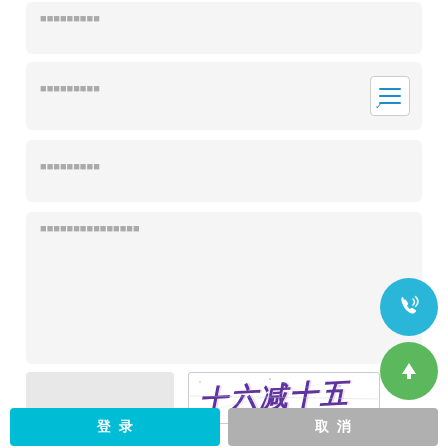■■■■■■■■■
■■■■■■■■■
■■■■■■■■■
■■■■■■■■■■■■■■■
[Figure (other): Input field and CAPTCHA image showing Chinese characters '十六减十五', with text below: ■■■■■■■■■■■■■■■■■■■=7]
[Figure (other): Blue phone/call floating action button]
[Figure (other): Green up-arrow floating action button]
登 录 (blue button)
取 消 (gray button)